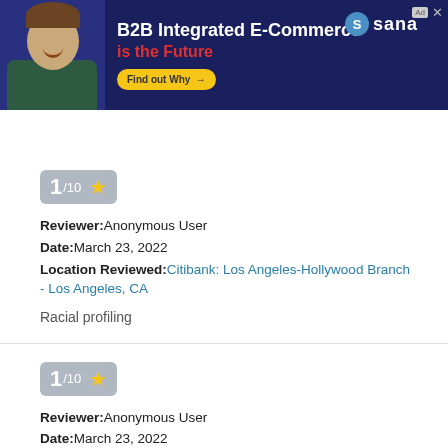[Figure (screenshot): Advertisement banner for Sana B2B Integrated E-Commerce with a man smiling, dark navy background, red and white text, yellow Find out Why button, and Sana logo.]
[Figure (screenshot): Browser navigation bar with up arrow icon and URL bar.]
1/10 ★
Reviewer: Anonymous User
Date: March 23, 2022
Location Reviewed: Citibank: Los Angeles-Hollywood Branch - Los Angeles, CA

Racial profiling
1/10 ★
Reviewer: Anonymous User
Date: March 23, 2022
Location Reviewed: Citibank: Los Angeles-Hollywood Branch - Los Angeles, CA

Racial profiling